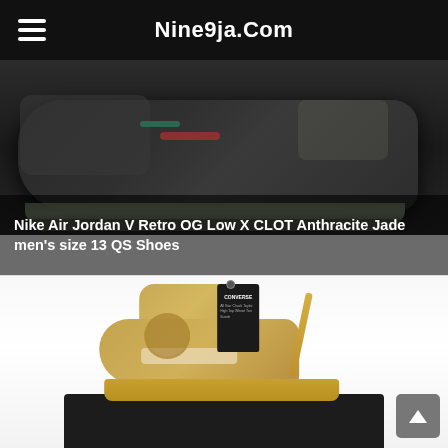Nine9ja.Com
[Figure (photo): Close-up photo of Nike Air Jordan V Retro OG Low X CLOT Anthracite Jade shoes, dark colorway with jade/green accents and red details]
Nike Air Jordan V Retro OG Low X CLOT Anthracite Jade men's size 13 QS Shoes
[Figure (photo): Photo of Converse high-top sneaker in tan/wheat suede colorway with matching laces, sitting on black box with Converse hang tag attached]